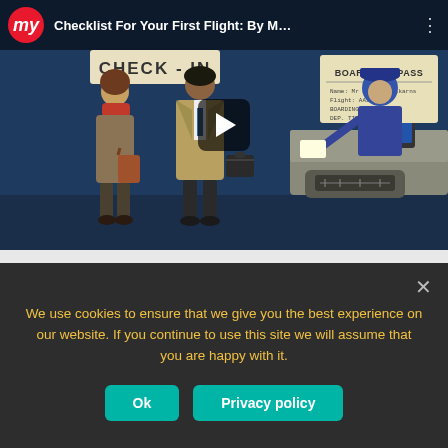[Figure (screenshot): YouTube-style video thumbnail for 'Checklist For Your First Flight: By M...' showing an animated illustration of two travelers at an airport check-in counter with a uniformed officer handing over a boarding pass, blue background, with a play button overlay.]
[Figure (screenshot): YouTube-style video thumbnail for 'Beginner's Guide To Boarding An Int...' with large yellow text 'NNER'S GUIDE TO' and a circular logo on a teal/blue background.]
We use cookies to ensure that we give you the best experience on our website. If you continue to use this site we will assume that you are happy with it.